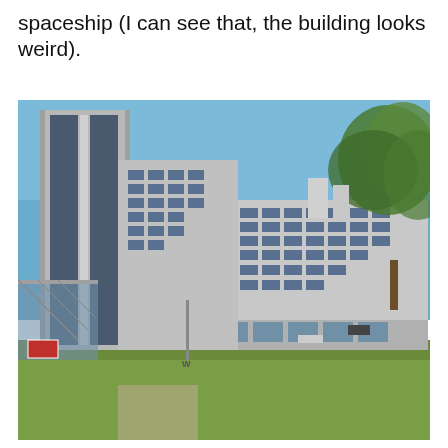spaceship (I can see that, the building looks weird).
[Figure (photo): Exterior photograph of a large modernist university or institutional building complex. The building features brutalist/modernist architecture with a tall vertical concrete tower on the left side, and a long curved multi-storey wing extending to the right. The foreground shows a green lawn area. Trees are visible on the right side. The sky is clear and blue. A street sign and a pole with 'W' are visible near the building entrance.]